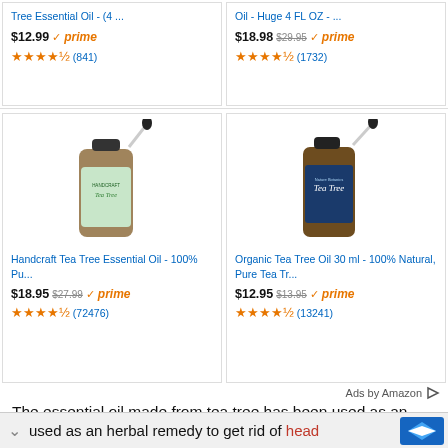[Figure (screenshot): Amazon product listing cards for tea tree essential oils showing prices, Prime badges, star ratings, and product images]
The essential oil made from tea tree has been used as an herbal remedy to get rid of head